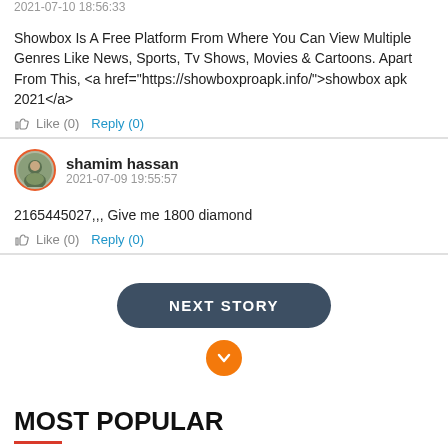2021-07-10 18:56:33
Showbox Is A Free Platform From Where You Can View Multiple Genres Like News, Sports, Tv Shows, Movies & Cartoons. Apart From This, <a href="https://showboxproapk.info/">showbox apk 2021</a>
👍 Like (0)   Reply (0)
shamim hassan
2021-07-09 19:55:57
2165445027,,, Give me 1800 diamond
👍 Like (0)   Reply (0)
NEXT STORY
MOST POPULAR
👁 613 views